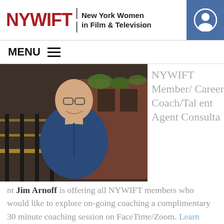NYWIFT | New York Women in Film & Television
MENU
[Figure (photo): Headshot of Jim Arnoff, a man in a blue shirt standing outdoors with arms crossed, smiling]
NYWIFT Member/Career Coach/Talent Agent Consultant Jim Arnoff is offering all NYWIFT members who would like to explore on-going coaching a complimentary 30 minute coaching session on FaceTime/Zoom. Learn more.